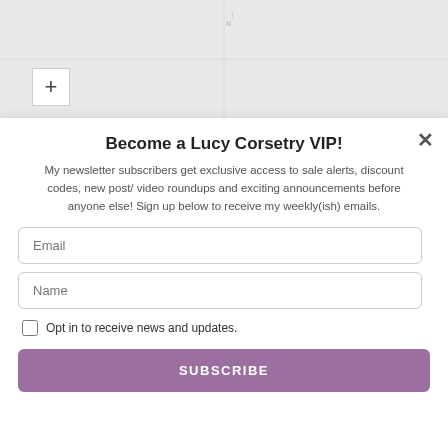[Figure (map): Map background with a zoom-in (+) button in the upper-left area]
Become a Lucy Corsetry VIP!
My newsletter subscribers get exclusive access to sale alerts, discount codes, new post/ video roundups and exciting announcements before anyone else! Sign up below to receive my weekly(ish) emails.
Email
Name
Opt in to receive news and updates.
SUBSCRIBE